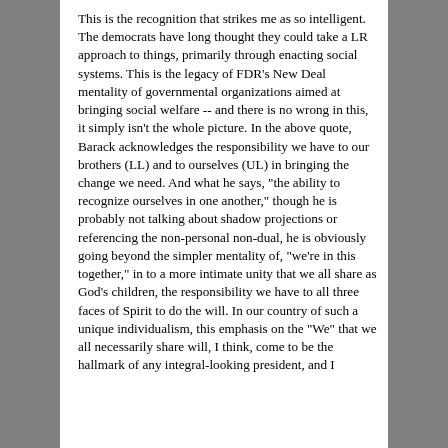This is the recognition that strikes me as so intelligent. The democrats have long thought they could take a LR approach to things, primarily through enacting social systems. This is the legacy of FDR's New Deal mentality of governmental organizations aimed at bringing social welfare -- and there is no wrong in this, it simply isn't the whole picture. In the above quote, Barack acknowledges the responsibility we have to our brothers (LL) and to ourselves (UL) in bringing the change we need. And what he says, "the ability to recognize ourselves in one another," though he is probably not talking about shadow projections or referencing the non-personal non-dual, he is obviously going beyond the simpler mentality of, "we're in this together," in to a more intimate unity that we all share as God's children, the responsibility we have to all three faces of Spirit to do the will. In our country of such a unique individualism, this emphasis on the "We" that we all necessarily share will, I think, come to be the hallmark of any integral-looking president, and I